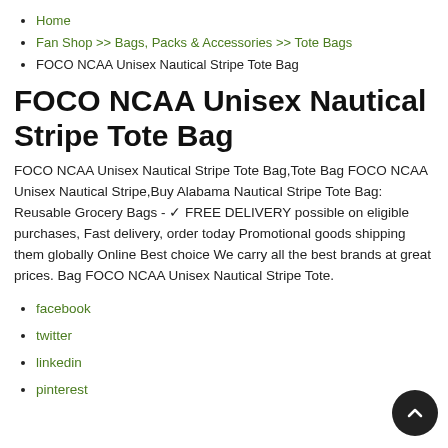Home
Fan Shop >> Bags, Packs & Accessories >> Tote Bags
FOCO NCAA Unisex Nautical Stripe Tote Bag
FOCO NCAA Unisex Nautical Stripe Tote Bag
FOCO NCAA Unisex Nautical Stripe Tote Bag,Tote Bag FOCO NCAA Unisex Nautical Stripe,Buy Alabama Nautical Stripe Tote Bag: Reusable Grocery Bags - ✓ FREE DELIVERY possible on eligible purchases, Fast delivery, order today Promotional goods shipping them globally Online Best choice We carry all the best brands at great prices. Bag FOCO NCAA Unisex Nautical Stripe Tote.
facebook
twitter
linkedin
pinterest